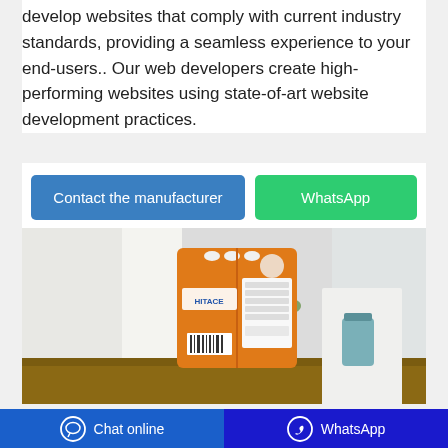develop websites that comply with current industry standards, providing a seamless experience to your end-users.. Our web developers create high-performing websites using state-of-art website development practices.
Contact the manufacturer | WhatsApp
[Figure (photo): Orange product bag (HITACE brand or similar laundry/detergent product) displayed on a wooden table against white background with curtains and a blue vase]
Budget | Governor Jay Inslee
Chat online | WhatsApp